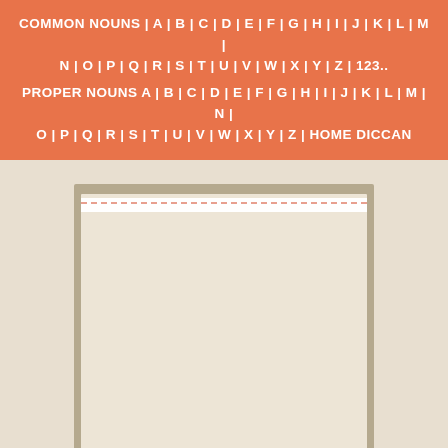COMMON NOUNS | A | B | C | D | E | F | G | H | I | J | K | L | M | N | O | P | Q | R | S | T | U | V | W | X | Y | Z | 123..  PROPER NOUNS A | B | C | D | E | F | G | H | I | J | K | L | M | N | O | P | Q | R | S | T | U | V | W | X | Y | Z | HOME DICCAN
[Figure (other): A beige/tan decorative page or document panel with a white top bar and dashed orange/salmon border at the top, set against a khaki-brown shadow block, all on a light beige background.]